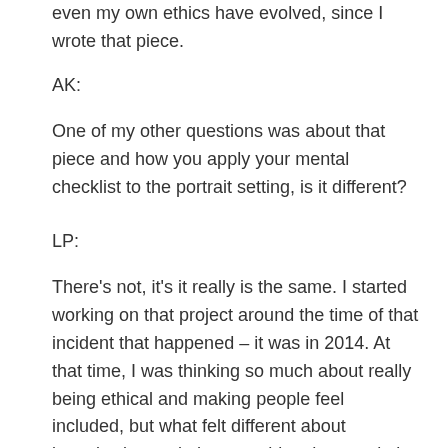even my own ethics have evolved, since I wrote that piece.
AK:
One of my other questions was about that piece and how you apply your mental checklist to the portrait setting, is it different?
LP:
There's not, it's it really is the same. I started working on that project around the time of that incident that happened – it was in 2014. At that time, I was thinking so much about really being ethical and making people feel included, but what felt different about interviewing and photographing the people in Korea versus the one person I got in the United States who was David. David had talked about the history more; I don't know if that's the influence of being in America where people are generally a little more open. In Korea, people don't really talk about this issue of divided families, and a few of the